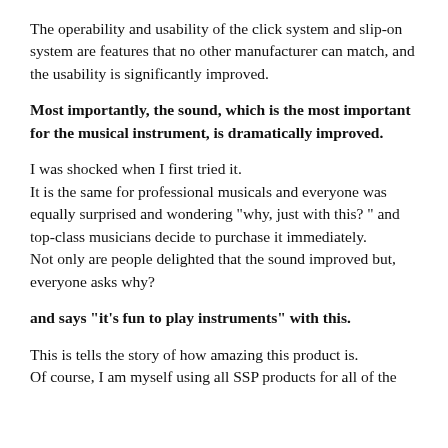The operability and usability of the click system and slip-on system are features that no other manufacturer can match, and the usability is significantly improved.
Most importantly, the sound, which is the most important for the musical instrument, is dramatically improved.
I was shocked when I first tried it.
It is the same for professional musicals and everyone was equally surprised and wondering "why, just with this? " and top-class musicians decide to purchase it immediately.
Not only are people delighted that the sound improved but, everyone asks why?
and says "it's fun to play instruments" with this.
This is tells the story of how amazing this product is.
Of course, I am myself using all SSP products for all of the